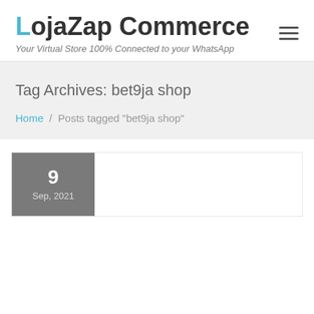LojaZap Commerce
Your Virtual Store 100% Connected to your WhatsApp
Tag Archives: bet9ja shop
Home / Posts tagged "bet9ja shop"
9
Sep, 2021